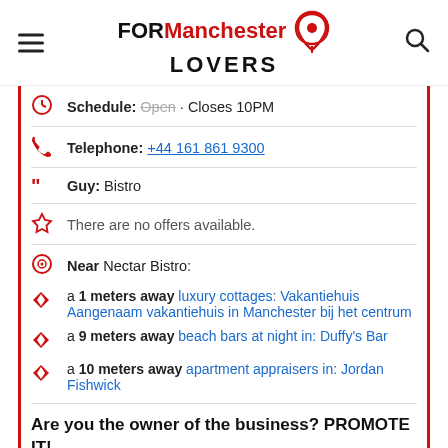FOR Manchester LOVERS
Schedule: Open · Closes 10PM
Telephone: +44 161 861 9300
Guy: Bistro
There are no offers available.
Near Nectar Bistro:
a 1 meters away luxury cottages: Vakantiehuis Aangenaam vakantiehuis in Manchester bij het centrum
a 9 meters away beach bars at night in: Duffy's Bar
a 10 meters away apartment appraisers in: Jordan Fishwick
Are you the owner of the business? PROMOTE IT!